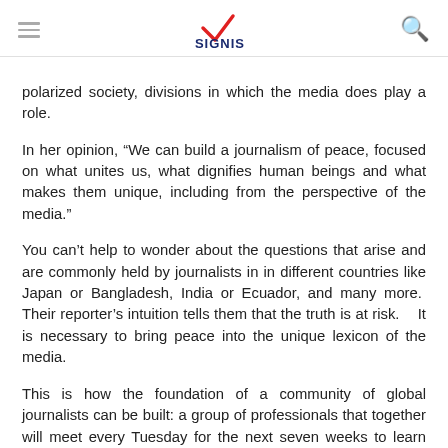SIGNIS
polarized society, divisions in which the media does play a role.
In her opinion, “We can build a journalism of peace, focused on what unites us, what dignifies human beings and what makes them unique, including from the perspective of the media.”
You can’t help to wonder about the questions that arise and are commonly held by journalists in in different countries like Japan or Bangladesh, India or Ecuador, and many more.  Their reporter’s intuition tells them that the truth is at risk.   It is necessary to bring peace into the unique lexicon of the media.
This is how the foundation of a community of global journalists can be built: a group of professionals that together will meet every Tuesday for the next seven weeks to learn from each other, and to learn about the stories that led them to their journalistic vocation.